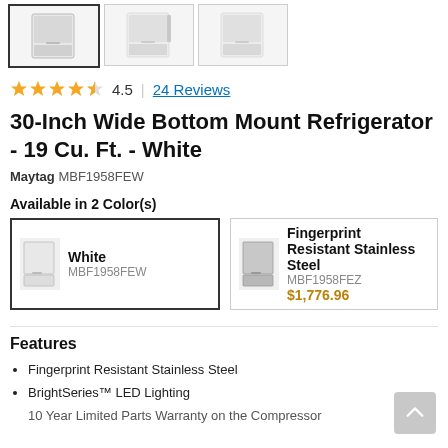[Figure (photo): Three product thumbnail images of a white bottom mount refrigerator]
4.5 | 24 Reviews
30-Inch Wide Bottom Mount Refrigerator - 19 Cu. Ft. - White
Maytag MBF1958FEW
Available in 2 Color(s)
White
MBF1958FEW
Fingerprint Resistant Stainless Steel
MBF1958FEZ
$1,776.96
Features
Fingerprint Resistant Stainless Steel
BrightSeries™ LED Lighting
10 Year Limited Parts Warranty on the Compressor